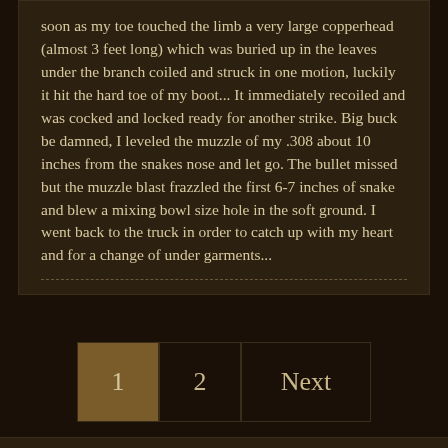soon as my toe touched the limb a very large copperhead (almost 3 feet long) which was buried up in the leaves under the branch coiled and struck in one motion, luckily it hit the hard toe of my boot... It immediately recoiled and was cocked and locked ready for another strike. Big buck be damned, I leveled the muzzle of my .308 about 10 inches from the snakes nose and let go. The bullet missed but the muzzle blast frazzled the first 6-7 inches of snake and blew a mixing bowl size hole in the soft ground. I went back to the truck in order to catch up with my heart and for a change of under garments...
1  2  Next